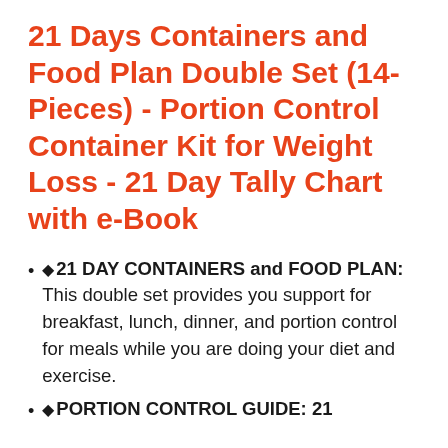21 Days Containers and Food Plan Double Set (14-Pieces) - Portion Control Container Kit for Weight Loss - 21 Day Tally Chart with e-Book
◆21 DAY CONTAINERS and FOOD PLAN: This double set provides you support for breakfast, lunch, dinner, and portion control for meals while you are doing your diet and exercise.
◆PORTION CONTROL GUIDE: 21